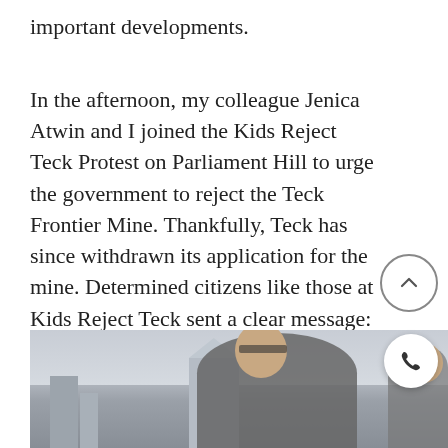important developments.
In the afternoon, my colleague Jenica Atwin and I joined the Kids Reject Teck Protest on Parliament Hill to urge the government to reject the Teck Frontier Mine. Thankfully, Teck has since withdrawn its application for the mine. Determined citizens like those at Kids Reject Teck sent a clear message: no new fossil fuel developments in the middle of a climate crisis. I was honoured to accept their banner with hundreds of signatures at the end of their protest.
[Figure (photo): Grayscale photograph of a smiling man wearing glasses and a dark jacket, standing outdoors with Parliament Hill buildings visible in the background. A woman is partially visible on the right side.]